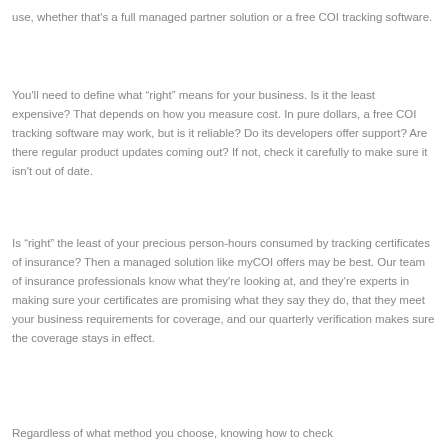use, whether that's a full managed partner solution or a free COI tracking software.
You'll need to define what “right” means for your business. Is it the least expensive? That depends on how you measure cost. In pure dollars, a free COI tracking software may work, but is it reliable? Do its developers offer support? Are there regular product updates coming out? If not, check it carefully to make sure it isn't out of date.
Is “right” the least of your precious person-hours consumed by tracking certificates of insurance? Then a managed solution like myCOI offers may be best. Our team of insurance professionals know what they're looking at, and they’re experts in making sure your certificates are promising what they say they do, that they meet your business requirements for coverage, and our quarterly verification makes sure the coverage stays in effect.
Regardless of what method you choose, knowing how to check